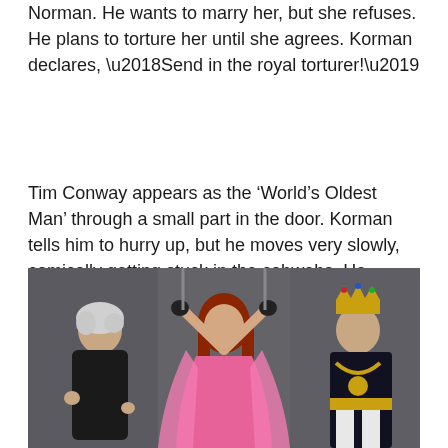Norman. He wants to marry her, but she refuses. He plans to torture her until she agrees. Korman declares, ‘Send in the royal torturer!’
Tim Conway appears as the ‘World’s Oldest Man’ through a small part in the door. Korman tells him to hurry up, but he moves very slowly, comically getting stuck in the cobwebs. He accidentally tries to torture Korman first!
[Figure (photo): A scene from a comedy sketch showing three actors in costume: on the left a man with white/grey hair in dark clothes, in the center a woman with long red hair in a pink dress with arms raised, and on the right a man in a king’s costume with a gold crown and black robe.]